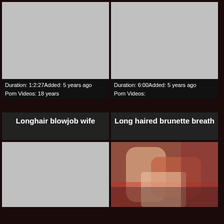[Figure (screenshot): Gray placeholder thumbnail for video 1]
Duration: 1:2:27Added: 5 years ago
Porn Videos: 18 years
[Figure (screenshot): Gray placeholder thumbnail for video 2]
Duration: 6:00Added: 5 years ago
Porn Videos:
Longhair blowjob wife
Long haired brunette breath
[Figure (screenshot): Gray placeholder thumbnail for video 3]
[Figure (photo): Photo of two people in an intimate scene with red lingerie]